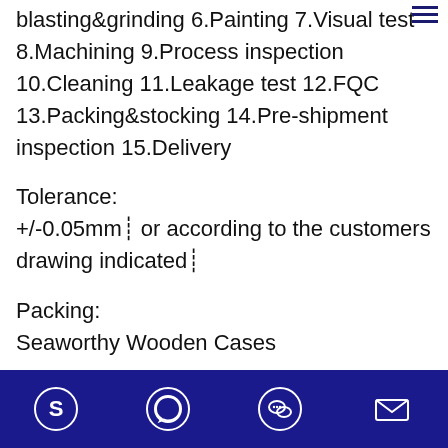blasting&grinding 6.Painting 7.Visual test 8.Machining 9.Process inspection 10.Cleaning 11.Leakage test 12.FQC 13.Packing&stocking 14.Pre-shipment inspection 15.Delivery
Tolerance:
+/-0.05mm￨ or according to the customers drawing indicated￨
Packing:
Seaworthy Wooden Cases
[Figure (other): Navigation bar with Skype, WhatsApp, WeChat, and email icons on dark blue background]